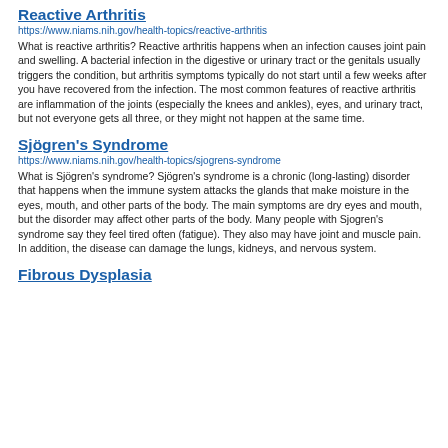Reactive Arthritis
https://www.niams.nih.gov/health-topics/reactive-arthritis
What is reactive arthritis? Reactive arthritis happens when an infection causes joint pain and swelling. A bacterial infection in the digestive or urinary tract or the genitals usually triggers the condition, but arthritis symptoms typically do not start until a few weeks after you have recovered from the infection. The most common features of reactive arthritis are inflammation of the joints (especially the knees and ankles), eyes, and urinary tract, but not everyone gets all three, or they might not happen at the same time.
Sjögren's Syndrome
https://www.niams.nih.gov/health-topics/sjogrens-syndrome
What is Sjögren's syndrome? Sjögren's syndrome is a chronic (long-lasting) disorder that happens when the immune system attacks the glands that make moisture in the eyes, mouth, and other parts of the body. The main symptoms are dry eyes and mouth, but the disorder may affect other parts of the body. Many people with Sjogren's syndrome say they feel tired often (fatigue). They also may have joint and muscle pain. In addition, the disease can damage the lungs, kidneys, and nervous system.
Fibrous Dysplasia